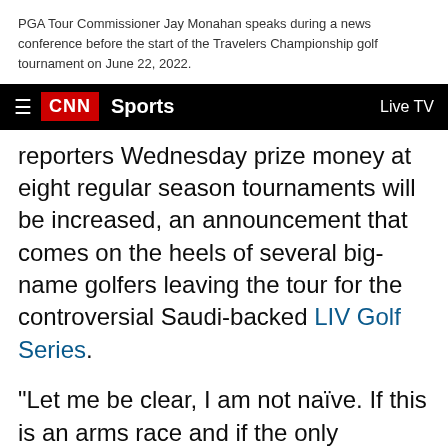PGA Tour Commissioner Jay Monahan speaks during a news conference before the start of the Travelers Championship golf tournament on June 22, 2022.
CNN Sports | Live TV
reporters Wednesday prize money at eight regular season tournaments will be increased, an announcement that comes on the heels of several big-name golfers leaving the tour for the controversial Saudi-backed LIV Golf Series.
"Let me be clear, I am not naïve. If this is an arms race and if the only weapons here are dollar bills, the PGA Tour can't compete," Monahan said at a news conference. "The PGA Tour, an American institution, can't compete with a foreign monarchy that is spending billions of dollars in an attempt to buy the